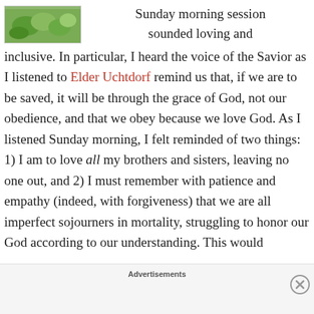[Figure (photo): Small photo of green plant/leaves]
Sunday morning session sounded loving and inclusive. In particular, I heard the voice of the Savior as I listened to Elder Uchtdorf remind us that, if we are to be saved, it will be through the grace of God, not our obedience, and that we obey because we love God. As I listened Sunday morning, I felt reminded of two things: 1) I am to love all my brothers and sisters, leaving no one out, and 2) I must remember with patience and empathy (indeed, with forgiveness) that we are all imperfect sojourners in mortality, struggling to honor our God according to our understanding. This would
Advertisements